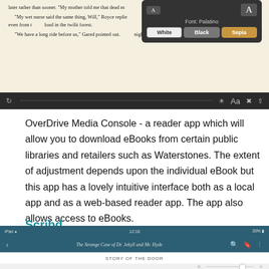[Figure (screenshot): Screenshot of an eBook reader app showing fantasy fiction text with a font settings popup (Font: Palatino, White/Black/Sepia options) and a dark toolbar at the bottom with navigation icons.]
OverDrive Media Console - a reader app which will allow you to download eBooks from certain public libraries and retailers such as Waterstones. The extent of adjustment depends upon the individual eBook but this app has a lovely intuitive interface both as a local app and as a web-based reader app. The app also allows access to eBooks.
Scribd.
[Figure (screenshot): Screenshot of the Scribd app showing a dark teal status bar and navigation bar with the title 'The Strange Case of Dr. Jekyll and Mr. Hyde', back arrow, search, bookmark, and menu icons, with chapter heading 'STORY OF THE DOOR' and a brightness slider below.]